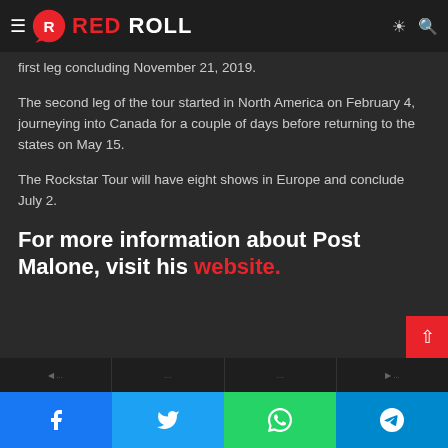RED ROLL
first leg concluding November 21, 2019.
The second leg of the tour started in North America on February 4, journeying into Canada for a couple of days before returning to the states on May 15.
The Rockstar Tour will have eight shows in Europe and conclude July 2.
For more information about Post Malone, visit his website.